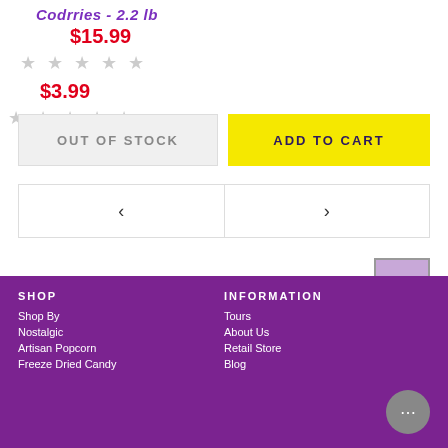Codrries - 2.2 lb
$15.99
★ ★ ★ ★ ★
OUT OF STOCK
$3.99
★ ★ ★ ★ ★
ADD TO CART
< >
SHOP
INFORMATION
Shop By
Nostalgic
Artisan Popcorn
Freeze Dried Candy
Tours
About Us
Retail Store
Blog